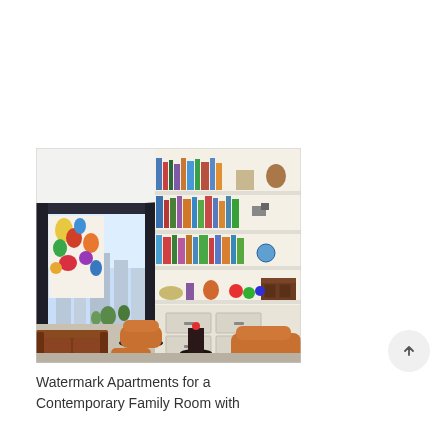[Figure (photo): Interior photo of a contemporary family room / living room at Watermark Apartments. Features brown leather sofas and Eames-style lounge chairs, a colorful abstract painting on the left wall, floor-to-ceiling windows with city view, and a large built-in white bookshelf filled with books and decorative objects. Dark structural beams frame the ceiling and window corners.]
Watermark Apartments for a Contemporary Family Room with